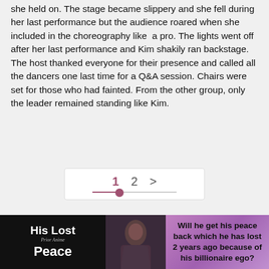she held on. The stage became slippery and she fell during her last performance but the audience roared when she included in the choreography like a pro. The lights went off after her last performance and Kim shakily ran backstage. The host thanked everyone for their presence and called all the dancers one last time for a Q&A session. Chairs were set for those who had fainted. From the other group, only the leader remained standing like Kim.
[Figure (other): Pagination control showing page 1 (active, highlighted in mauve) and page 2, with a right arrow. Below the numbers is a horizontal bar with a filled dot positioned under page 1.]
[Figure (infographic): Advertisement banner for a story called 'His Lost Peace'. Left section is black with white bold text. Middle section shows a dark photo. Right section is purple with bold black text: 'Will he get his peace back which he has lost 2 years ago because of his billionaire ego?']